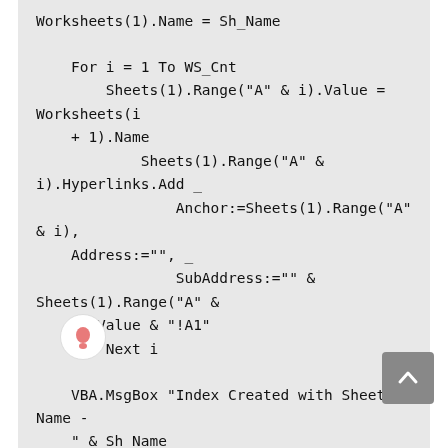Worksheets(1).Name = Sh_Name

    For i = 1 To WS_Cnt
        Sheets(1).Range("A" & i).Value = Worksheets(i + 1).Name
            Sheets(1).Range("A" & i).Hyperlinks.Add _
                Anchor:=Sheets(1).Range("A" & i), Address:="", _
                SubAddress:="""" & Sheets(1).Range("A" & i).Value & ""!A1"
        Next i

    VBA.MsgBox "Index Created with Sheet Name - " & Sh_Name
    Application.ScreenUpdating = True
End Sub
Now, use the green-colored ‘Run’ button to execute the code. As a result, excel would pop out a window to provide the name of the index